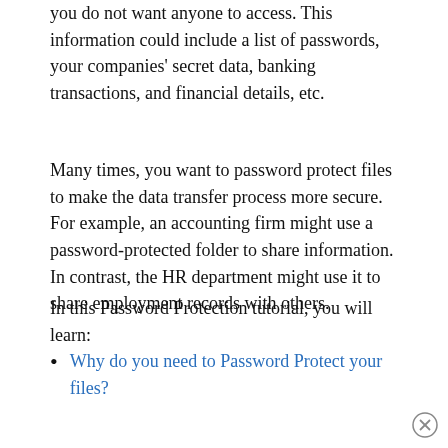you do not want anyone to access. This information could include a list of passwords, your companies' secret data, banking transactions, and financial details, etc.
Many times, you want to password protect files to make the data transfer process more secure. For example, an accounting firm might use a password-protected folder to share information. In contrast, the HR department might use it to share employment records with others.
In this Password Protection tutorial, you will learn:
Why do you need to Password Protect your files?